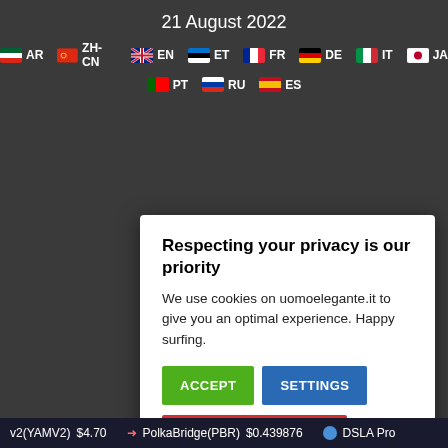21 August 2022
AR  ZH-CN  EN  ET  FR  DE  IT  JA  PT  RU  ES
Respecting your privacy is our priority
We use cookies on uomoelegante.it to give you an optimal experience. Happy surfing.
ACCEPT  SETTINGS  REJECT ALL
v2(YAMV2) $4.70  PolkaBridge(PBR) $0.439876  DSLA Pro